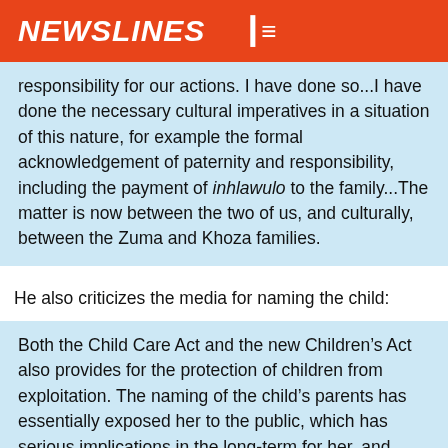NEWSLINES
responsibility for our actions. I have done so...I have done the necessary cultural imperatives in a situation of this nature, for example the formal acknowledgement of paternity and responsibility, including the payment of inhlawulo to the family...The matter is now between the two of us, and culturally, between the Zuma and Khoza families.
He also criticizes the media for naming the child:
Both the Child Care Act and the new Children's Act also provides for the protection of children from exploitation. The naming of the child's parents has essentially exposed her to the public, which has serious implications in the long-term for her, and amounts to the exploitation referred to in the Act, because the media is making money out of the matter...The media is also in essence questioning the right of the child to exist and fundamentally, her right to life. It is unfortunate that the matter has been handled in this way. I sincerely hope that the media will protect the rights of children.